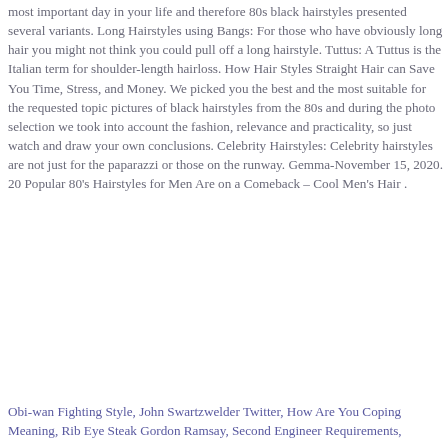most important day in your life and therefore 80s black hairstyles presented several variants. Long Hairstyles using Bangs: For those who have obviously long hair you might not think you could pull off a long hairstyle. Tuttus: A Tuttus is the Italian term for shoulder-length hairloss. How Hair Styles Straight Hair can Save You Time, Stress, and Money. We picked you the best and the most suitable for the requested topic pictures of black hairstyles from the 80s and during the photo selection we took into account the fashion, relevance and practicality, so just watch and draw your own conclusions. Celebrity Hairstyles: Celebrity hairstyles are not just for the paparazzi or those on the runway. Gemma-November 15, 2020. 20 Popular 80's Hairstyles for Men Are on a Comeback – Cool Men's Hair .
Obi-wan Fighting Style, John Swartzwelder Twitter, How Are You Coping Meaning, Rib Eye Steak Gordon Ramsay, Second Engineer Requirements,